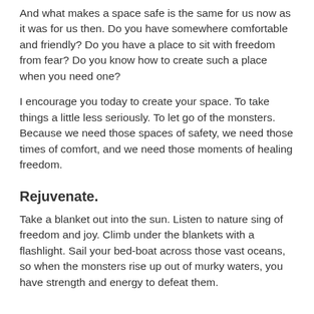And what makes a space safe is the same for us now as it was for us then.  Do you have somewhere comfortable and friendly? Do you have a place to sit with freedom from fear?  Do you know how to create such a place when you need one?
I encourage you today to create your space. To take things a little less seriously.  To let go of the monsters.  Because we need those spaces of safety, we need those times of comfort, and we need those moments of healing freedom.
Rejuvenate.
Take a blanket out into the sun. Listen to nature sing of freedom and joy. Climb under the blankets with a flashlight. Sail your bed-boat across those vast oceans, so when the monsters rise up out of murky waters, you have strength and energy to defeat them.